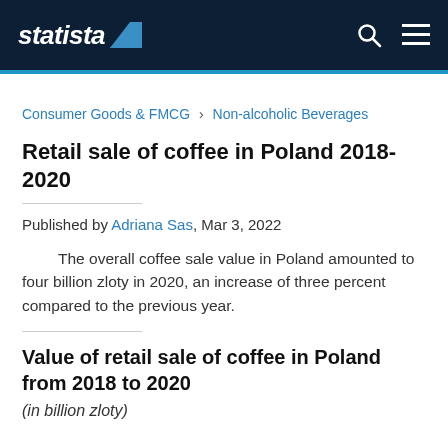statista
Consumer Goods & FMCG › Non-alcoholic Beverages
Retail sale of coffee in Poland 2018-2020
Published by Adriana Sas, Mar 3, 2022
The overall coffee sale value in Poland amounted to four billion zloty in 2020, an increase of three percent compared to the previous year.
Value of retail sale of coffee in Poland from 2018 to 2020
(in billion zloty)